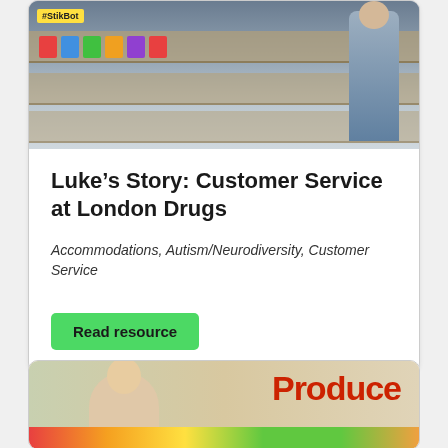[Figure (photo): Person standing in a retail store aisle with product shelves visible, including a StikBot label. The store appears to be London Drugs.]
Luke’s Story: Customer Service at London Drugs
Accommodations, Autism/Neurodiversity, Customer Service
Read resource
[Figure (photo): Person standing in front of a Produce section sign in a grocery/retail store, with colorful fruits visible in the background.]